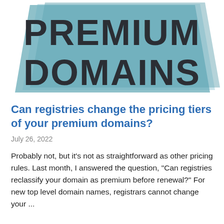[Figure (illustration): Large bold text 'PREMIUM DOMAINS' on a teal/steel-blue diagonal parallelogram/chevron background banner graphic]
Can registries change the pricing tiers of your premium domains?
July 26, 2022
Probably not, but it's not as straightforward as other pricing rules. Last month, I answered the question, "Can registries reclassify your domain as premium before renewal?" For new top level domain names, registrars cannot change your ...